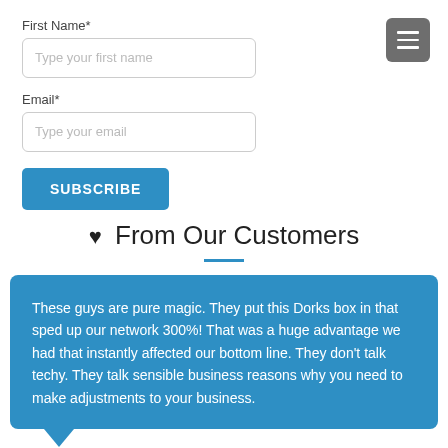First Name*
Type your first name
Email*
Type your email
SUBSCRIBE
♥ From Our Customers
These guys are pure magic. They put this Dorks box in that sped up our network 300%! That was a huge advantage we had that instantly affected our bottom line. They don't talk techy. They talk sensible business reasons why you need to make adjustments to your business.